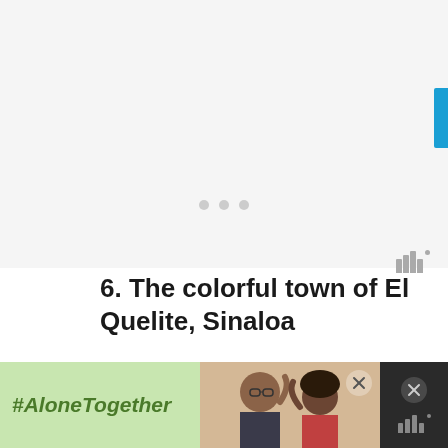[Figure (other): Light gray top area with three dots centered and a blue tab on the right edge]
6. The colorful town of El Quelite, Sinaloa
[Figure (photo): Photo of colorful El Quelite, Sinaloa showing green tropical plants and orange/rust colored wall]
[Figure (other): Advertisement banner with #AloneTogether text on green background, a photo of two people waving, and close buttons]